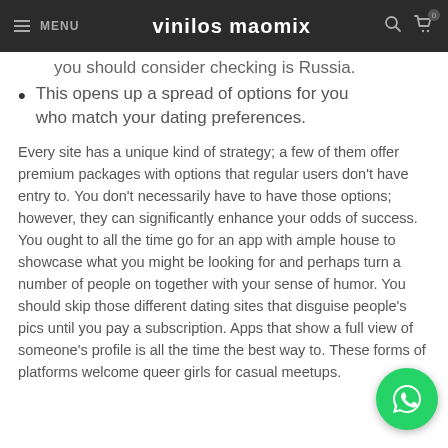MENU | vinilos maomix
you should consider checking is Russia.
This opens up a spread of options for you who match your dating preferences.
Every site has a unique kind of strategy; a few of them offer premium packages with options that regular users don't have entry to. You don't necessarily have to have those options; however, they can significantly enhance your odds of success. You ought to all the time go for an app with ample house to showcase what you might be looking for and perhaps turn a number of people on together with your sense of humor. You should skip those different dating sites that disguise people's pics until you pay a subscription. Apps that show a full view of someone's profile is all the time the best way to. These forms of platforms welcome queer girls for casual meetups.